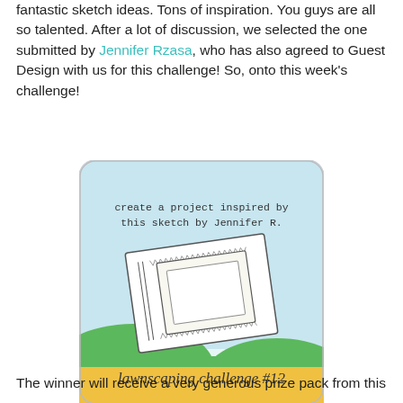fantastic sketch ideas. Tons of inspiration. You guys are all so talented. After a lot of discussion, we selected the one submitted by Jennifer Rzasa, who has also agreed to Guest Design with us for this challenge! So, onto this week's challenge!
[Figure (illustration): A rounded square badge illustration with light blue sky background and green hills. In the center is a sketch of a card with decorative borders and a rectangular frame. Text at top reads 'create a project inspired by this sketch by Jennifer R.' Yellow banner at bottom reads 'lawnscaping challenge #12' in cursive script.]
The winner will receive a very generous prize pack from this